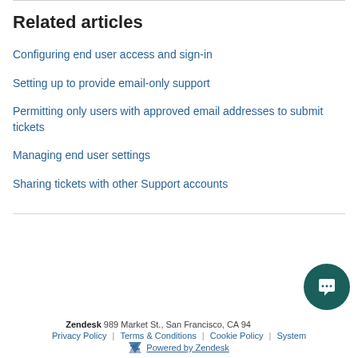Related articles
Configuring end user access and sign-in
Setting up to provide email-only support
Permitting only users with approved email addresses to submit tickets
Managing end user settings
Sharing tickets with other Support accounts
Zendesk 989 Market St., San Francisco, CA 94... | Privacy Policy | Terms & Conditions | Cookie Policy | System... | Powered by Zendesk